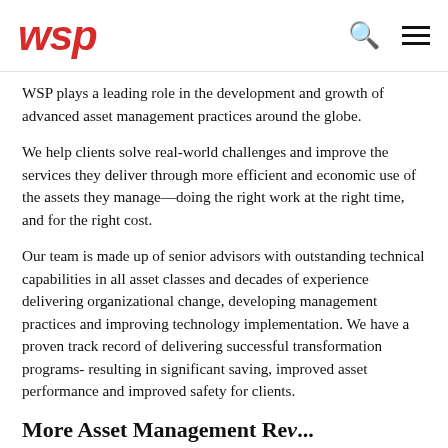WSP
WSP plays a leading role in the development and growth of advanced asset management practices around the globe.
We help clients solve real-world challenges and improve the services they deliver through more efficient and economic use of the assets they manage—doing the right work at the right time, and for the right cost.
Our team is made up of senior advisors with outstanding technical capabilities in all asset classes and decades of experience delivering organizational change, developing management practices and improving technology implementation. We have a proven track record of delivering successful transformation programs- resulting in significant saving, improved asset performance and improved safety for clients.
More Asset Management Review...